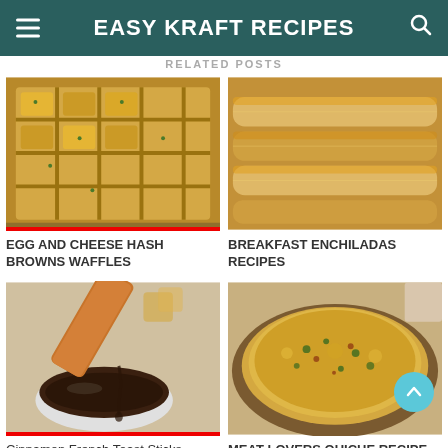EASY KRAFT RECIPES
RELATED POSTS
[Figure (photo): Cheesy egg and hash brown waffles with herbs on top]
[Figure (photo): Breakfast enchiladas with melted cheese]
EGG AND CHEESE HASH BROWNS WAFFLES
BREAKFAST ENCHILADAS RECIPES
[Figure (photo): Cinnamon French toast stick being dipped into syrup]
[Figure (photo): Meat lovers quiche with colorful toppings in pie crust]
Cinnamon French Toast Sticks
MEAT LOVERS QUICHE RECIPE